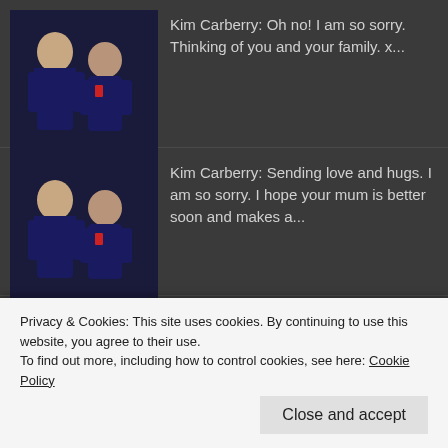Kim Carberry: Oh no! I am so sorry. Thinking of you and your family. x...
Kim Carberry: Sending love and hugs. I am so sorry. I hope your mum is better soon and makes a...
Jodie Alice Fisher: It’s been great to have something fun AND educational all at the same time....
Kim Carberry: What great products. My girls used to love using those Mathlink Cubes. They alwa...
Privacy & Cookies: This site uses cookies. By continuing to use this website, you agree to their use.
To find out more, including how to control cookies, see here: Cookie Policy
Close and accept